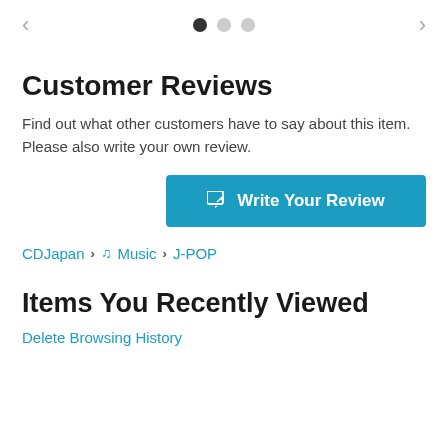[Figure (other): Navigation carousel with left arrow, three dots (first active), and right arrow]
Customer Reviews
Find out what other customers have to say about this item. Please also write your own review.
[Figure (other): Write Your Review button in teal/blue color with edit icon]
CDJapan > Music > J-POP
Items You Recently Viewed
Delete Browsing History